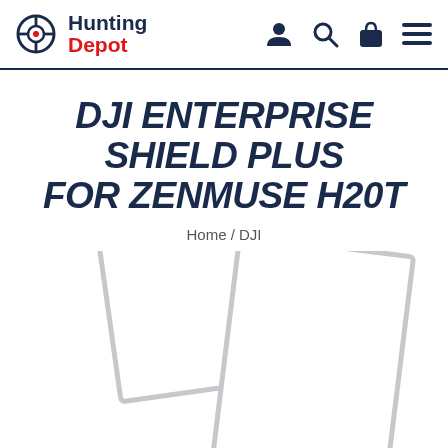Hunting Depot
DJI ENTERPRISE SHIELD PLUS FOR ZENMUSE H20T
Home / DJI
[Figure (photo): Product image placeholder showing two overlapping tilted white/grey rectangles (photo placeholders) against a white background]